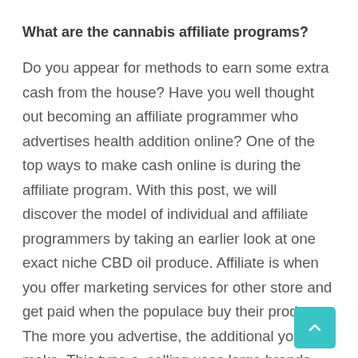What are the cannabis affiliate programs?
Do you appear for methods to earn some extra cash from the house? Have you well thought out becoming an affiliate programmer who advertises health addition online? One of the top ways to make cash online is during the affiliate program. With this post, we will discover the model of individual and affiliate programmers by taking an earlier look at one exact niche CBD oil produce. Affiliate is when you offer marketing services for other store and get paid when the populace buy their products. The more you advertise, the additional you make. This type of selling uses large brands and lesser, up-and-coming